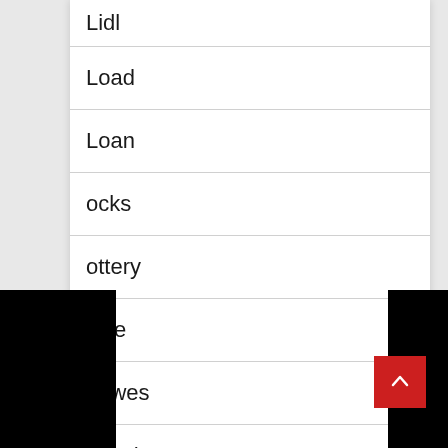Lidl
Load
Loan
Locks
Lottery
Lowe
Lowes
Lunch
Mail